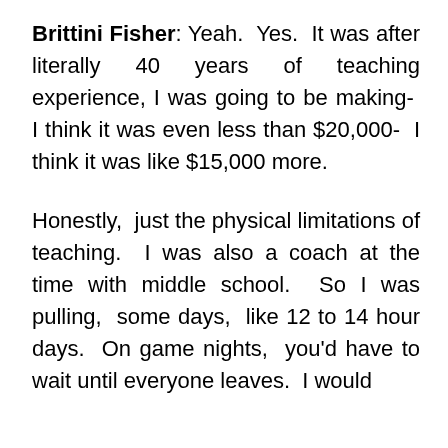Brittini Fisher: Yeah. Yes. It was after literally 40 years of teaching experience, I was going to be making- I think it was even less than $20,000- I think it was like $15,000 more.
Honestly, just the physical limitations of teaching. I was also a coach at the time with middle school. So I was pulling, some days, like 12 to 14 hour days. On game nights, you'd have to wait until everyone leaves. I would